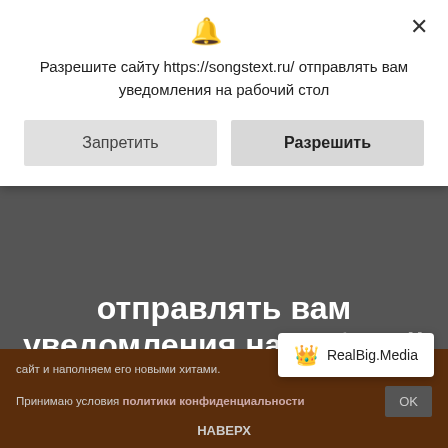[Figure (screenshot): Browser notification permission dialog box over a dark website background. Dialog shows bell icon, close X button, Russian text asking permission to send notifications from https://songstext.ru/, with two buttons: Запретить (Block) and Разрешить (Allow).]
Разрешите сайту https://songstext.ru/ отправлять вам уведомления на рабочий стол
Запретить
Разрешить
RealBig.Media
отправлять вам уведомления на рабочий стол.
Пение является частью нашей жизни — отличный метод, чтобы отвлечься от плохих мыслей, сбросить усталость и просто поднять себе настроение. Или может Вы услышали песню и хотите прочитать полностью ее текст? Тогда попали по адресу! На нашем сайте songstext.ru находятся тексты и переводы песен на русский язык. Мы каждый день обновляем сайт и наполняем его новыми хитами.
Принимаю условия политики конфиденциальности
НАВЕРХ